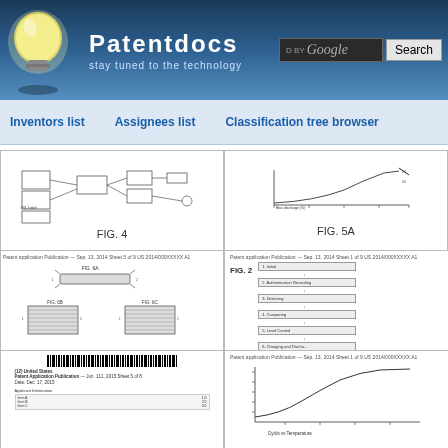Patentdocs — stay tuned to the technology
Inventors list   Assignees list   Classification tree browser
[Figure (engineering-diagram): Patent figure FIG. 4 showing a block diagram with components connected by lines]
FIG. 4
[Figure (continuous-plot): Patent figure FIG. 5A showing a graph with axes, bias discharge on x-axis]
FIG. 5A
[Figure (engineering-diagram): Patent figures FIG. 6A, FIG. 6B, FIG. 6C showing component diagrams]
[Figure (flowchart): Patent figure FIG. 2 showing a flowchart with numbered steps]
[Figure (other): Patent cover page with barcode and publication information]
[Figure (continuous-plot): Patent figure showing a graph, Dy/dx vs Temperature]